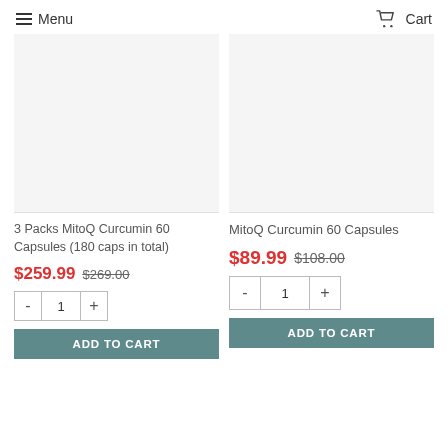Menu   Cart
3 Packs MitoQ Curcumin 60 Capsules (180 caps in total)
$259.99  $269.00
MitoQ Curcumin 60 Capsules
$89.99  $108.00